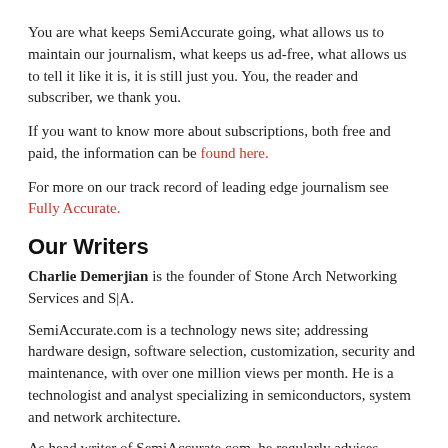You are what keeps SemiAccurate going, what allows us to maintain our journalism, what keeps us ad-free, what allows us to tell it like it is, it is still just you. You, the reader and subscriber, we thank you.
If you want to know more about subscriptions, both free and paid, the information can be found here.
For more on our track record of leading edge journalism see Fully Accurate.
Our Writers
Charlie Demerjian is the founder of Stone Arch Networking Services and S|A.
SemiAccurate.com is a technology news site; addressing hardware design, software selection, customization, security and maintenance, with over one million views per month. He is a technologist and analyst specializing in semiconductors, system and network architecture.
As head writer of SemiAccurate.com, he regularly advises writers, analysts, and industry executives on technical matters and long lead industry trends.
Thomas Ryan is a GIS Programmer and freelance technology writer from Seattle, WA. You can find his work on SemiAccurate and PCWorld.
Tweets from https://twitter.com/SemiAccurate/lists/writers